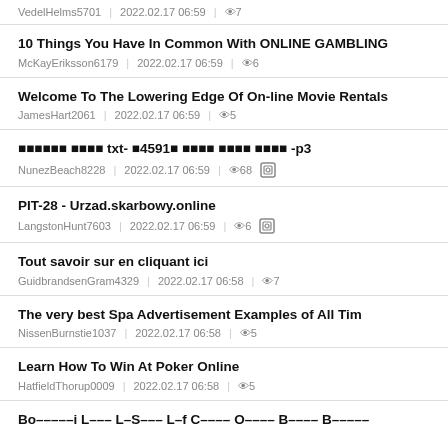VedelHelms5701 | 2022.02.17 06:59 | 7
10 Things You Have In Common With ONLINE GAMBLING
McKayEriksson6179 | 2022.02.17 06:59 | 6
Welcome To The Lowering Edge Of On-line Movie Rentals
JamesHart2061 | 2022.02.17 06:59 | 5
txt- 4591 -p3
NunezBeach8228 | 2022.02.17 06:59 | 68
PIT-28 - Urzad.skarbowy.online
LangstonHunt7603 | 2022.02.17 06:59 | 6
Tout savoir sur en cliquant ici
GuidbrandsenGram4329 | 2022.02.17 06:58 | 7
The very best Spa Advertisement Examples of All Tim
NissenBurnstie1037 | 2022.02.17 06:58 | 5
Learn How To Win At Poker Online
HatfieldThorup0009 | 2022.02.17 06:58 | 5